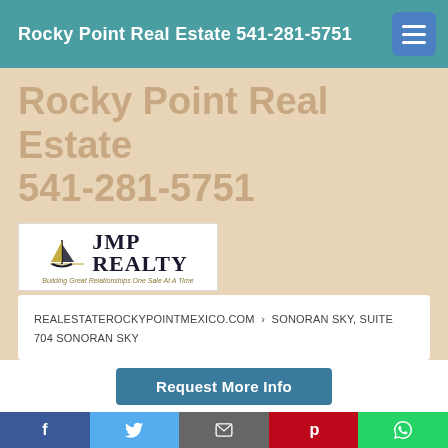Rocky Point Real Estate 541-281-5751
Rocky Point Real Estate 541-281-5751
[Figure (logo): JMP Realty logo with sailboat icon and tagline: Building Great Relationships One Sale At A Time]
REALESTATEROCKYPOINTMEXICO.COM › SONORAN SKY, SUITE 704 SONORAN SKY
Request More Info
Social share buttons: Facebook, Twitter, Email, Pinterest, WhatsApp